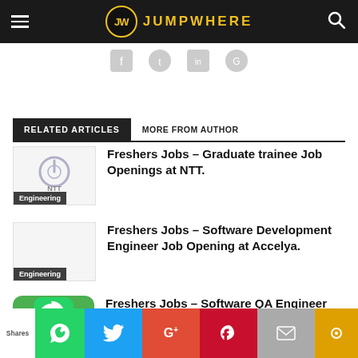JUMPWHERE
[Figure (logo): JW logo with social share icons bar]
RELATED ARTICLES | MORE FROM AUTHOR
[Figure (other): NTT logo thumbnail with Engineering badge]
Freshers Jobs – Graduate trainee Job Openings at NTT.
[Figure (other): Blank thumbnail with Engineering badge]
Freshers Jobs – Software Development Engineer Job Opening at Accelya.
[Figure (other): Partial article thumbnail with WhatsApp icon overlay]
Freshers Jobs – Software QA Engineer
Shares | WhatsApp | Twitter | G+ | Pinterest | Mail | Circle